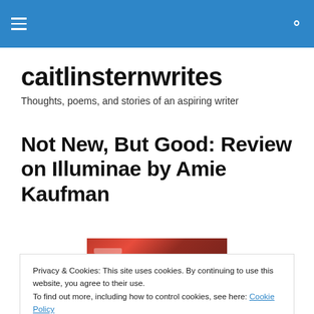caitlinsternwrites — site header navigation bar
caitlinsternwrites
Thoughts, poems, and stories of an aspiring writer
Not New, But Good: Review on Illuminae by Amie Kaufman
[Figure (photo): Partial view of the Illuminae book cover showing a red textured/glittery spine or cover band]
Privacy & Cookies: This site uses cookies. By continuing to use this website, you agree to their use.
To find out more, including how to control cookies, see here: Cookie Policy
[Figure (photo): Bottom portion of book cover image, orange and warm-toned colors]